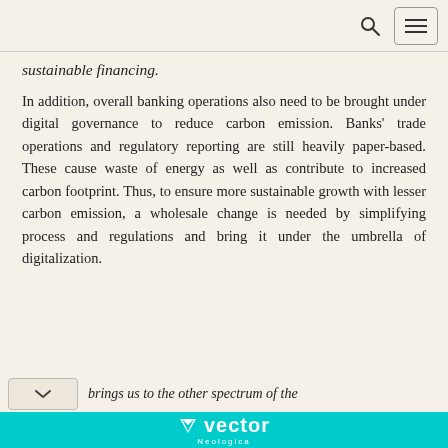[search icon] [menu icon]
sustainable financing.
In addition, overall banking operations also need to be brought under digital governance to reduce carbon emission. Banks' trade operations and regulatory reporting are still heavily paper-based. These cause waste of energy as well as contribute to increased carbon footprint. Thus, to ensure more sustainable growth with lesser carbon emission, a wholesale change is needed by simplifying process and regulations and bring it under the umbrella of digitalization.
…brings us to the other spectrum of the
vector Neologica